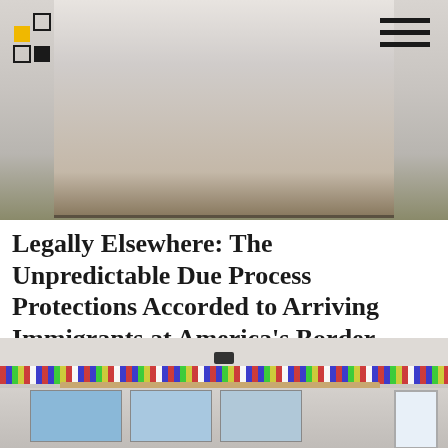[Figure (photo): Top photo: a person in white clothing, partially visible, background appears outdoor/natural, image is partially cropped]
Legally Elsewhere: The Unpredictable Due Process Protections Accorded to Arriving Immigrants at America's Border
SEE MORE
[Figure (photo): Bottom photo: a classroom interior with international flags strung along a shelf, maps on the walls, and a projector on the ceiling]